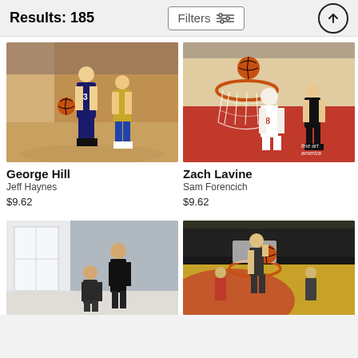Results: 185
Filters
[Figure (photo): George Hill basketball action photo]
[Figure (photo): Zach Lavine Bulls dunk aerial photo with fine art america watermark]
George Hill
Jeff Haynes
$9.62
Zach Lavine
Sam Forencich
$9.62
[Figure (photo): Portrait photo of two basketball players in casual clothes]
[Figure (photo): Basketball game action dunk photo aerial view]